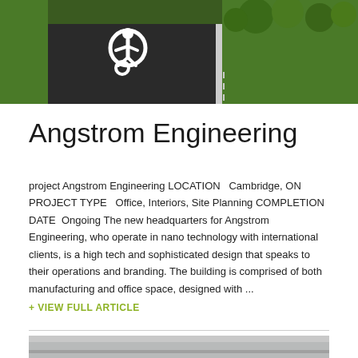[Figure (photo): Aerial/rendered view of a parking lot with handicap symbol on dark asphalt, surrounded by green grass and trees]
Angstrom Engineering
project Angstrom Engineering LOCATION   Cambridge, ON PROJECT TYPE   Office, Interiors, Site Planning COMPLETION DATE  Ongoing The new headquarters for Angstrom Engineering, who operate in nano technology with international clients, is a high tech and sophisticated design that speaks to their operations and branding. The building is comprised of both manufacturing and office space, designed with ...
+ VIEW FULL ARTICLE
[Figure (photo): Bottom portion of another project image, partially visible, showing a gray outdoor scene]